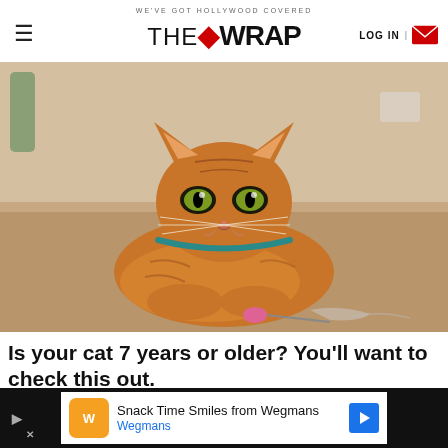WE'VE GOT HOLLYWOOD COVERED | THE WRAP | LOG IN
[Figure (photo): Orange tabby cat with teal collar lying on a carpet, looking directly at camera, with a pink toy nearby]
Is your cat 7 years or older? You'll want to check this out.
Hill's Pet
Snack Time Smiles from Wegmans | Wegmans